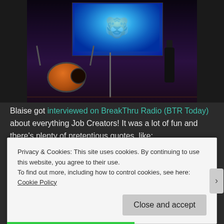[Figure (photo): Concert photo showing musicians on stage with a large illuminated tiger face projection screen behind them. A drum kit with an orange bass drum is visible on the left, and a guitarist stands on the right. The venue is dark with purple/red ambient lighting.]
Blaise got interviewed on BreakThru Radio (BTR Today) about everything Job Creators! It was a lot of fun and there's plenty of pretentious quotes, like:
Continue reading →
Privacy & Cookies: This site uses cookies. By continuing to use this website, you agree to their use.
To find out more, including how to control cookies, see here: Cookie Policy
Close and accept